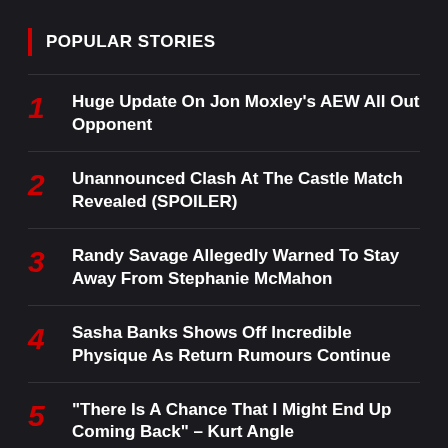POPULAR STORIES
1 Huge Update On Jon Moxley's AEW All Out Opponent
2 Unannounced Clash At The Castle Match Revealed (SPOILER)
3 Randy Savage Allegedly Warned To Stay Away From Stephanie McMahon
4 Sasha Banks Shows Off Incredible Physique As Return Rumours Continue
5 “There Is A Chance That I Might End Up Coming Back” – Kurt Angle